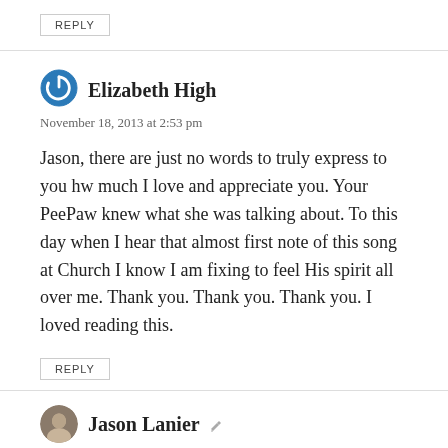REPLY
Elizabeth High
November 18, 2013 at 2:53 pm
Jason, there are just no words to truly express to you hw much I love and appreciate you. Your PeePaw knew what she was talking about. To this day when I hear that almost first note of this song at Church I know I am fixing to feel His spirit all over me. Thank you. Thank you. Thank you. I loved reading this.
REPLY
Jason Lanier